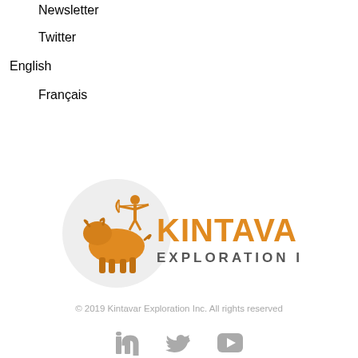Newsletter
Twitter
English
Français
[Figure (logo): Kintavar Exploration Inc logo with archer and bull icon in orange/amber tones and grey circle]
© 2019 Kintavar Exploration Inc. All rights reserved
[Figure (infographic): Social media icons: LinkedIn, Twitter, YouTube in grey]